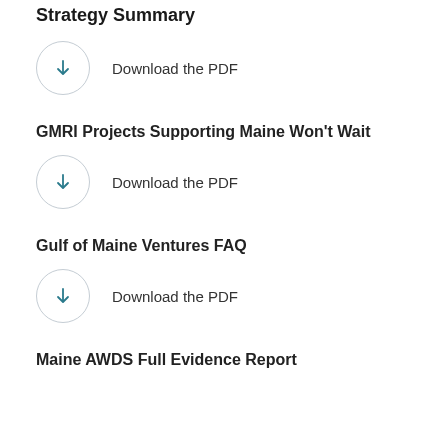Strategy Summary
Download the PDF
GMRI Projects Supporting Maine Won't Wait
Download the PDF
Gulf of Maine Ventures FAQ
Download the PDF
Maine AWDS Full Evidence Report